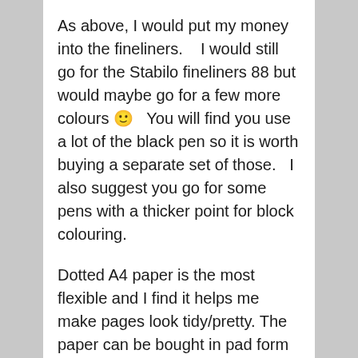As above, I would put my money into the fineliners.    I would still go for the Stabilo fineliners 88 but would maybe go for a few more colours 🙂   You will find you use a lot of the black pen so it is worth buying a separate set of those.   I also suggest you go for some pens with a thicker point for block colouring.
Dotted A4 paper is the most flexible and I find it helps me make pages look tidy/pretty. The paper can be bought in pad form which makes it easier to work on and can be filed when pages are completed.
If any coloured text doth help please note that...